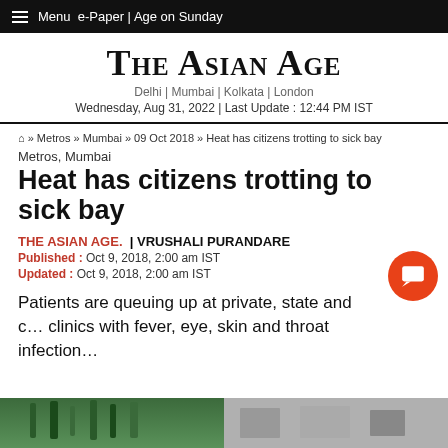≡ Menu  e-Paper | Age on Sunday
The Asian Age
Delhi | Mumbai | Kolkata | London
Wednesday, Aug 31, 2022 | Last Update : 12:44 PM IST
🏠 » Metros » Mumbai » 09 Oct 2018 » Heat has citizens trotting to sick bay
Metros, Mumbai
Heat has citizens trotting to sick bay
THE ASIAN AGE.  | VRUSHALI PURANDARE
Published : Oct 9, 2018, 2:00 am IST
Updated : Oct 9, 2018, 2:00 am IST
Patients are queuing up at private, state and c… clinics with fever, eye, skin and throat infection…
[Figure (photo): Photo strip at bottom of article page showing outdoor scene with trees]